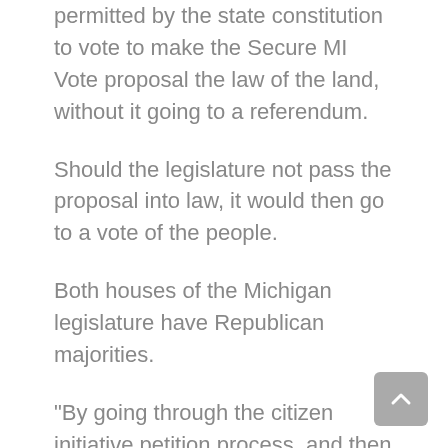permitted by the state constitution to vote to make the Secure MI Vote proposal the law of the land, without it going to a referendum.
Should the legislature not pass the proposal into law, it would then go to a vote of the people.
Both houses of the Michigan legislature have Republican majorities.
“By going through the citizen initiative petition process, and then having the legislature enact them, the provisions will not be susceptible to a veto by Governor [Gretchen] Whitmer,” said Roe.
In October 2021, the Democratic governor, stated